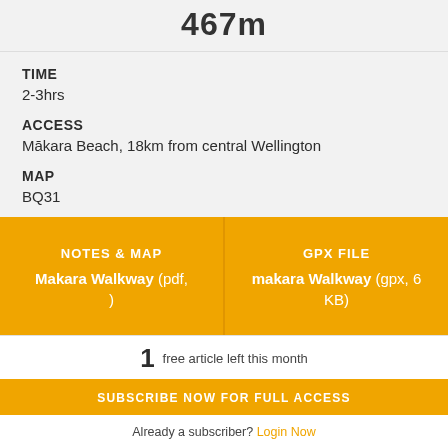467m
TIME
2-3hrs
ACCESS
Mākara Beach, 18km from central Wellington
MAP
BQ31
NOTES & MAP
Makara Walkway (pdf, )
GPX FILE
makara Walkway (gpx, 6 KB)
1 free article left this month
SUBSCRIBE NOW FOR FULL ACCESS
Already a subscriber? Login Now